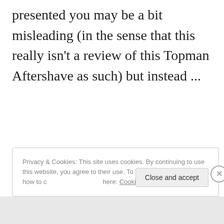presented you may be a bit misleading (in the sense that this really isn't a review of this Topman Aftershave as such) but instead ...
Continue reading →
Privacy & Cookies: This site uses cookies. By continuing to use this website, you agree to their use. To find out more, including how to control cookies, see here: Cookie Policy
Close and accept